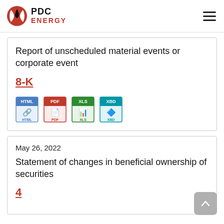PDC ENERGY
Report of unscheduled material events or corporate event
8-K
[Figure (illustration): Row of four file format icons: HTML (blue), PDF (red), XLS (green), XBD (teal)]
May 26, 2022
Statement of changes in beneficial ownership of securities
4